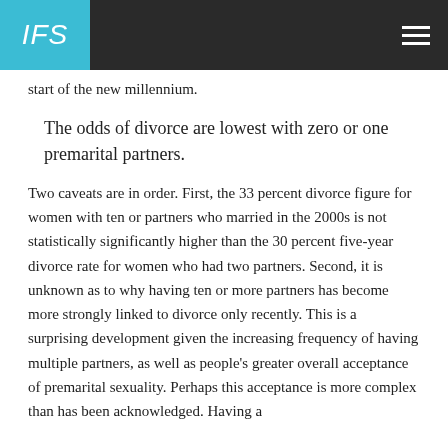IFS
start of the new millennium.
The odds of divorce are lowest with zero or one premarital partners.
Two caveats are in order. First, the 33 percent divorce figure for women with ten or partners who married in the 2000s is not statistically significantly higher than the 30 percent five-year divorce rate for women who had two partners. Second, it is unknown as to why having ten or more partners has become more strongly linked to divorce only recently. This is a surprising development given the increasing frequency of having multiple partners, as well as people's greater overall acceptance of premarital sexuality. Perhaps this acceptance is more complex than has been acknowledged. Having a